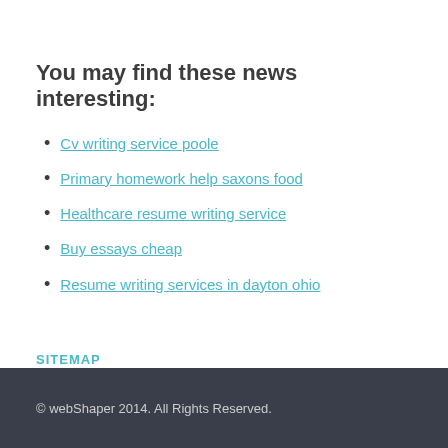You may find these news interesting:
Cv writing service poole
Primary homework help saxons food
Healthcare resume writing service
Buy essays cheap
Resume writing services in dayton ohio
SITEMAP
© webShaper 2014. All Rights Reserved.